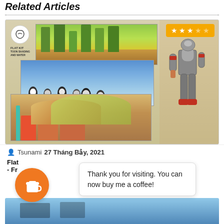Related Articles
[Figure (screenshot): Article card for Flat Kit: Toon Shading and Water asset. Shows stacked game scene images (forest, water creatures, stylized city) with a robot character on the right. A yellow star rating badge (3 out of 5 stars) appears in the top right.]
Tsunami  27 Tháng Bảy, 2021
Flat  - Fr
Thank you for visiting. You can now buy me a coffee!
[Figure (illustration): Coffee cup icon (Buy Me a Coffee button) — orange circle with white coffee cup icon]
[Figure (photo): Bottom article image strip showing blue sky and outdoor scene]